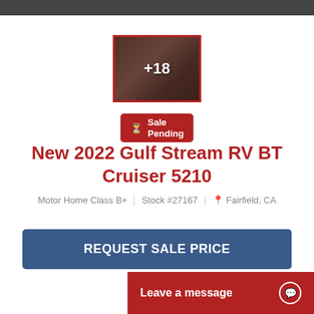[Figure (photo): Interior photo thumbnail of RV with dark wood tones, overlaid with +18 image count badge]
Sale Pending
New 2022 Gulf Stream RV BT Cruiser 5210
Motor Home Class B+   Stock #27167   Fairfield, CA
REQUEST SALE PRICE
Leave a message